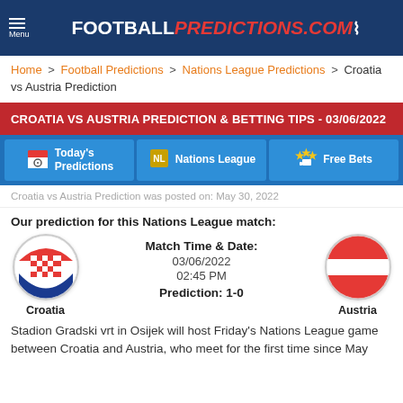FOOTBALL PREDICTIONS.COM Menu
Home > Football Predictions > Nations League Predictions > Croatia vs Austria Prediction
CROATIA VS AUSTRIA PREDICTION & BETTING TIPS - 03/06/2022
Today's Predictions | Nations League | Free Bets
Croatia vs Austria Prediction was posted on: May 30, 2022
Our prediction for this Nations League match:
Match Time & Date: 03/06/2022 02:45 PM Prediction: 1-0 Croatia Austria
Stadion Gradski vrt in Osijek will host Friday's Nations League game between Croatia and Austria, who meet for the first time since May